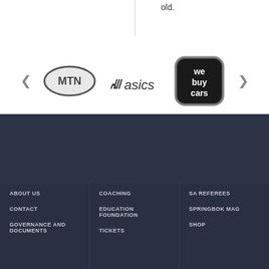old.
[Figure (logo): Sponsors carousel with MTN oval logo, Asics logo, WeBuyCars dark rounded square logo, with left and right arrow navigation]
[Figure (logo): SA Rugby springbok logo with yellow springbok leaping right and SA RUGBY text below]
ABOUT US
COACHING
SA REFEREES
CONTACT
EDUCATION FOUNDATION
SPRINGBOK MAG
GOVERNANCE AND DOCUMENTS
TICKETS
SHOP